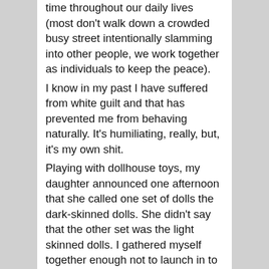time throughout our daily lives (most don't walk down a crowded busy street intentionally slamming into other people, we work together as individuals to keep the peace).
I know in my past I have suffered from white guilt and that has prevented me from behaving naturally. It's humiliating, really, but, it's my own shit.
Playing with dollhouse toys, my daughter announced one afternoon that she called one set of dolls the dark-skinned dolls. She didn't say that the other set was the light skinned dolls. I gathered myself together enough not to launch in to a whole history of race issues in the USA. She'd made a simple observation. We've tried to always be sure she has characters in books with lots of different backgrounds, tried to always have